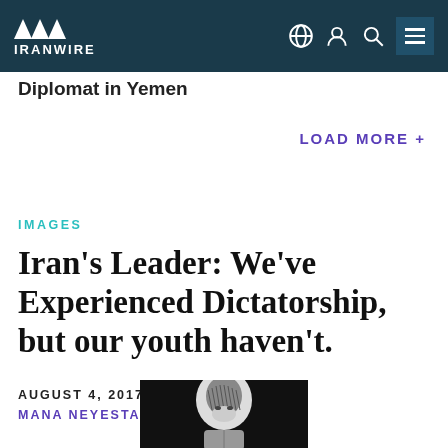IRANWIRE
Diplomat in Yemen
LOAD MORE +
IMAGES
Iran’s Leader: We’ve Experienced Dictatorship, but our youth haven’t.
AUGUST 4, 2017
MANA NEYESTANI
[Figure (illustration): Partial view of a black and white illustration showing a figure, cropped at bottom of page]